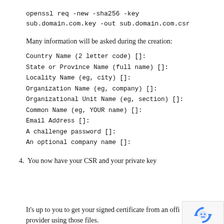openssl req -new -sha256 -key
sub.domain.com.key -out sub.domain.com.csr
Many information will be asked during the creation:
Country Name (2 letter code) []:
State or Province Name (full name) []:
Locality Name (eg, city) []:
Organization Name (eg, company) []:
Organizational Unit Name (eg, section) []:
Common Name (eg, YOUR name) []:
Email Address []:
A challenge password []:
An optional company name []:
4. You now have your CSR and your private key
It's up to you to get your signed certificate from an official provider using those files.
[Figure (logo): reCAPTCHA badge with robot icon and Privacy - Terms text]